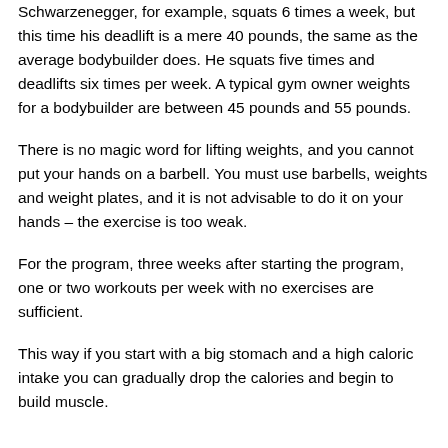Schwarzenegger, for example, squats 6 times a week, but this time his deadlift is a mere 40 pounds, the same as the average bodybuilder does. He squats five times and deadlifts six times per week. A typical gym owner weights for a bodybuilder are between 45 pounds and 55 pounds.
There is no magic word for lifting weights, and you cannot put your hands on a barbell. You must use barbells, weights and weight plates, and it is not advisable to do it on your hands – the exercise is too weak.
For the program, three weeks after starting the program, one or two workouts per week with no exercises are sufficient.
This way if you start with a big stomach and a high caloric intake you can gradually drop the calories and begin to build muscle.